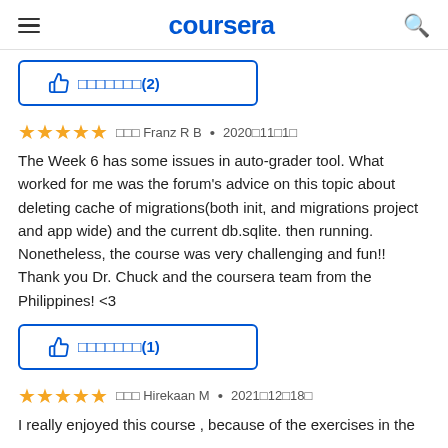coursera
👍 ░░░░░░░(2)
★★★★★  ░░░ Franz R B  •  2020░11░1░
The Week 6 has some issues in auto-grader tool. What worked for me was the forum's advice on this topic about deleting cache of migrations(both init, and migrations project and app wide) and the current db.sqlite. then running. Nonetheless, the course was very challenging and fun!! Thank you Dr. Chuck and the coursera team from the Philippines! <3
👍 ░░░░░░░(1)
★★★★★  ░░░ Hirekaan M  •  2021░12░18░
I really enjoyed this course , because of the exercises in the